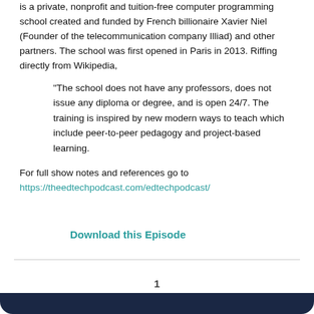is a private, nonprofit and tuition-free computer programming school created and funded by French billionaire Xavier Niel (Founder of the telecommunication company Illiad) and other partners. The school was first opened in Paris in 2013. Riffing directly from Wikipedia,
"The school does not have any professors, does not issue any diploma or degree, and is open 24/7. The training is inspired by new modern ways to teach which include peer-to-peer pedagogy and project-based learning.
For full show notes and references go to https://theedtechpodcast.com/edtechpodcast/
Download this Episode
1